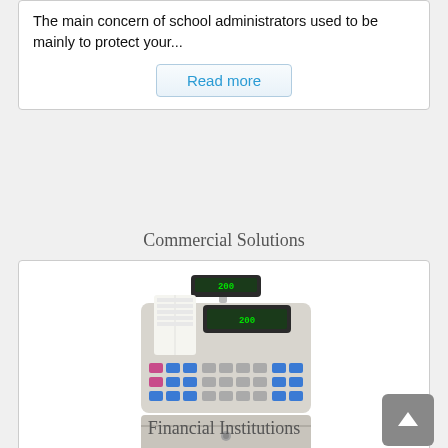The main concern of school administrators used to be mainly to protect your...
Read more
Commercial Solutions
[Figure (illustration): A cash register / point-of-sale machine illustration with receipt printer, display screens showing '200', keypad with colored buttons, and a cash drawer.]
Protecting a retail business requires a multi-faceted approach to security...
Read more
Financial Institutions